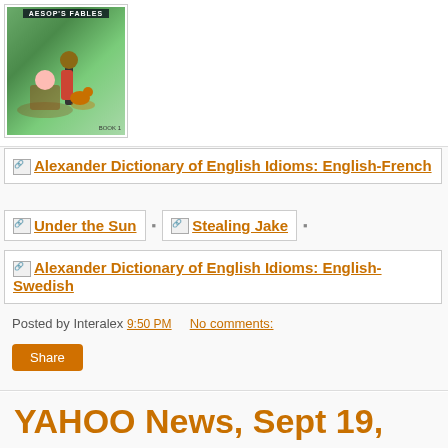[Figure (illustration): Book cover for Aesop's Fables showing illustrated children and a fox]
Alexander Dictionary of English Idioms: English-French
Under the Sun
Stealing Jake
Alexander Dictionary of English Idioms: English-Swedish
Posted by Interalex 9:50 PM   No comments:
Share
YAHOO News, Sept 19, 2014